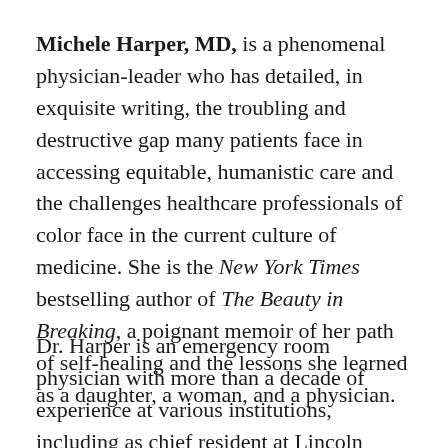Michele Harper, MD, is a phenomenal physician-leader who has detailed, in exquisite writing, the troubling and destructive gap many patients face in accessing equitable, humanistic care and the challenges healthcare professionals of color face in the current culture of medicine. She is the New York Times bestselling author of The Beauty in Breaking, a poignant memoir of her path of self-healing and the lessons she learned as a daughter, a woman, and a physician.
Dr. Harper is an emergency room physician with more than a decade of experience at various institutions, including as chief resident at Lincoln Hospital in the South Bronx and in the emergency department at the Veterans Affairs Medical Center